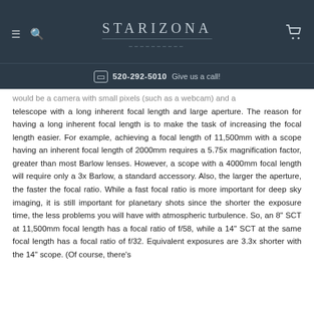STARIZONA | 520-292-5010 Give us a call!
would be a camera with small pixels (such as a webcam) and a telescope with a long inherent focal length and large aperture. The reason for having a long inherent focal length is to make the task of increasing the focal length easier. For example, achieving a focal length of 11,500mm with a scope having an inherent focal length of 2000mm requires a 5.75x magnification factor, greater than most Barlow lenses. However, a scope with a 4000mm focal length will require only a 3x Barlow, a standard accessory. Also, the larger the aperture, the faster the focal ratio. While a fast focal ratio is more important for deep sky imaging, it is still important for planetary shots since the shorter the exposure time, the less problems you will have with atmospheric turbulence. So, an 8" SCT at 11,500mm focal length has a focal ratio of f/58, while a 14" SCT at the same focal length has a focal ratio of f/32. Equivalent exposures are 3.3x shorter with the 14" scope. (Of course, there's